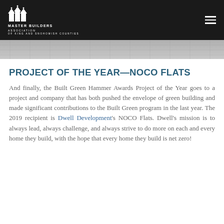MBA Master Builders Association
[Figure (photo): Aerial view of rooftop tiles/shingles in gray tones]
PROJECT OF THE YEAR—NOCO FLATS
And finally, the Built Green Hammer Awards Project of the Year goes to a project and company that has both pushed the envelope of green building and made significant contributions to the Built Green program in the last year. The 2019 recipient is Dwell Development's NOCO Flats. Dwell's mission is to always lead, always challenge, and always strive to do more on each and every home they build, with the hope that every home they build is net zero!